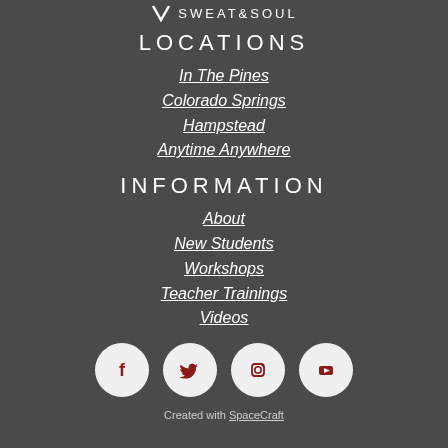SWEAT&SOUL
LOCATIONS
In The Pines
Colorado Springs
Hampstead
Anytime Anywhere
INFORMATION
About
New Students
Workshops
Teacher Trainings
Videos
[Figure (logo): Social media icons row: Facebook, Twitter, Instagram, YouTube — white circles on light background]
Created with SpaceCraft